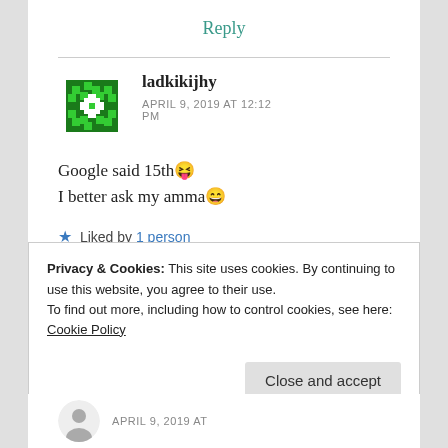Reply
ladkikijhy
APRIL 9, 2019 AT 12:12 PM
Google said 15th😝
I better ask my amma😄
Liked by 1 person
Privacy & Cookies: This site uses cookies. By continuing to use this website, you agree to their use.
To find out more, including how to control cookies, see here: Cookie Policy
Close and accept
APRIL 9, 2019 AT